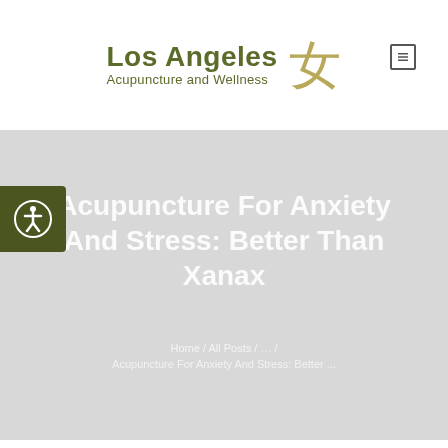[Figure (logo): Los Angeles Acupuncture and Wellness logo with Chinese character (女) in gold and dark olive green text]
[Figure (illustration): Accessibility icon button - dark olive green square with white person-in-circle accessibility symbol]
Acupuncture For Anxiety And Stress: Better Than Xanax
Home / All Posts / … / Acupuncture For Anxiety And Stress: Better ...